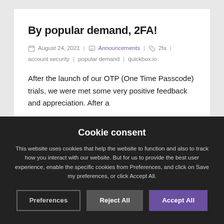By popular demand, 2FA!
August 24, 2021 | Announcements | 2fa | account security | popular demand | quickbox.io
After the launch of our OTP (One Time Passcode) trials, we were met some very positive feedback and appreciation. After a
Cookie consent
This website uses cookies that help the website to function and also to track how you interact with our website. But for us to provide the best user experience, enable the specific cookies from Preferences, and click on Save my preferences, or click Accept All.
Preferences | Reject All | Accept All